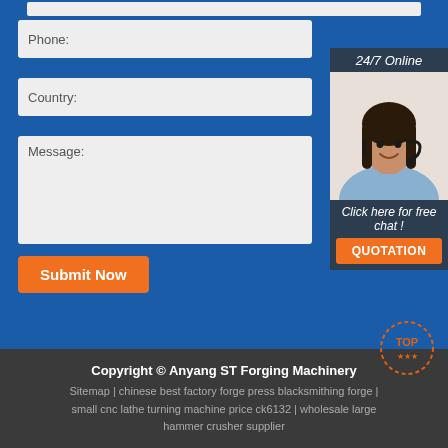[Figure (screenshot): Contact form section with Phone, Country, and Message fields on a blue background, alongside a 24/7 Online chat widget showing a customer service representative, with a Submit Now button and QUOTATION button]
Copyright © Anyang ST Forging Machinery
Sitemap | chinese best factory forge press blacksmithing forge | small cnc lathe turning machine price ck6132 | wholesale large hammer crusher supplier